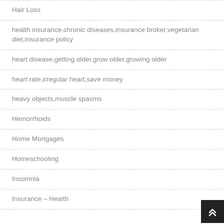Hair Loss
health insurance,chronic diseases,insurance broker,vegetarian diet,insurance policy
heart disease,getting older,grow older,growing older
heart rate,irregular heart,save money
heavy objects,muscle spasms
Hemorrhoids
Home Mortgages
Homeschooling
Insomnia
Insurance – Health